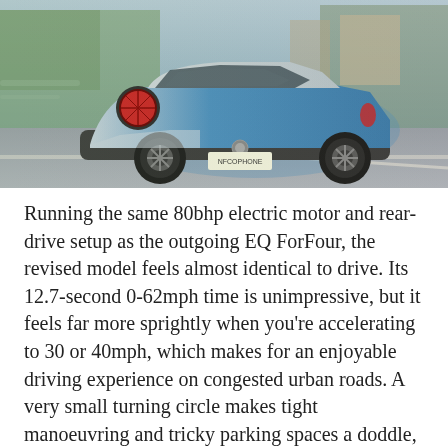[Figure (photo): Rear three-quarter view of a blue and silver Smart EQ ForFour electric car driving on a road, with blurred background showing trees and buildings.]
Running the same 80bhp electric motor and rear-drive setup as the outgoing EQ ForFour, the revised model feels almost identical to drive. Its 12.7-second 0-62mph time is unimpressive, but it feels far more sprightly when you're accelerating to 30 or 40mph, which makes for an enjoyable driving experience on congested urban roads. A very small turning circle makes tight manoeuvring and tricky parking spaces a doddle, while the electric motor runs pretty quietly most of the time.